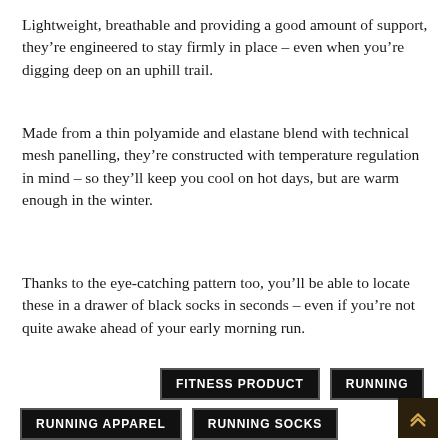Lightweight, breathable and providing a good amount of support, they’re engineered to stay firmly in place – even when you’re digging deep on an uphill trail.
Made from a thin polyamide and elastane blend with technical mesh panelling, they’re constructed with temperature regulation in mind – so they’ll keep you cool on hot days, but are warm enough in the winter.
Thanks to the eye-catching pattern too, you’ll be able to locate these in a drawer of black socks in seconds – even if you’re not quite awake ahead of your early morning run.
FITNESS PRODUCT
RUNNING
RUNNING APPAREL
RUNNING SOCKS